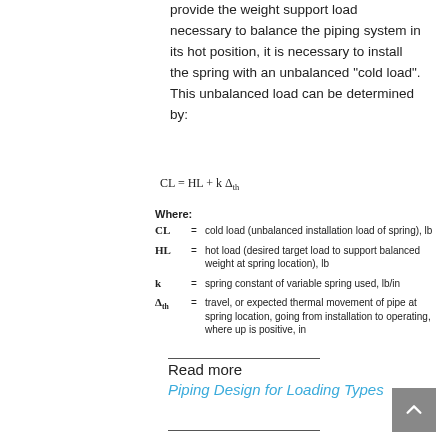provide the weight support load necessary to balance the piping system in its hot position, it is necessary to install the spring with an unbalanced "cold load". This unbalanced load can be determined by:
Where:
CL = cold load (unbalanced installation load of spring), lb
HL = hot load (desired target load to support balanced weight at spring location), lb
k = spring constant of variable spring used, lb/in
Δth = travel, or expected thermal movement of pipe at spring location, going from installation to operating, where up is positive, in
Read more
Piping Design for Loading Types